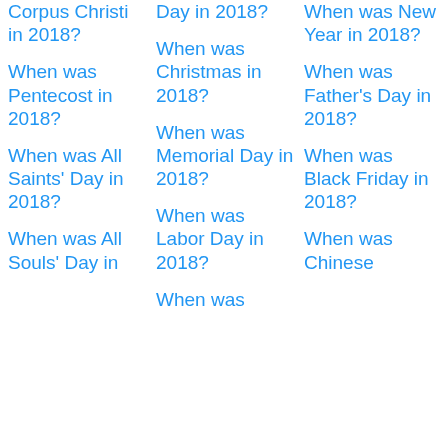Corpus Christi in 2018?
When was Pentecost in 2018?
When was All Saints' Day in 2018?
When was All Souls' Day in
Day in 2018?
When was Christmas in 2018?
When was Memorial Day in 2018?
When was Labor Day in 2018?
When was
When was New Year in 2018?
When was Father's Day in 2018?
When was Black Friday in 2018?
When was Chinese